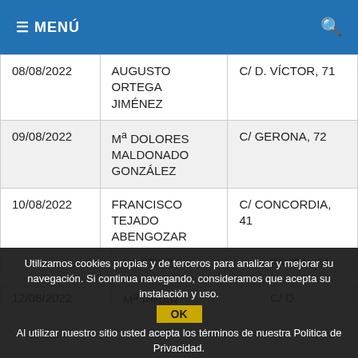≡ MENÚ  🔍
| Fecha | Nombre | Dirección |
| --- | --- | --- |
| 08/08/2022 | AUGUSTO ORTEGA JIMÉNEZ | C/ D. VÍCTOR, 71 |
| 09/08/2022 | Mª DOLORES MALDONADO GONZÁLEZ | C/ GERONA, 72 |
| 10/08/2022 | FRANCISCO TEJADO ABENGOZAR | C/ CONCORDIA, 41 |
| 11/08/2022 | LA CRUZ | PAVÓN, 51 |
| 12/08/2022 | Mª PINAR ... | C/ D. VÍCTOR, 28 |
Utilizamos cookies propias y de terceros para analizar y mejorar su navegación. Si continua navegando, consideramos que acepta su instalación y uso.
Al utilizar nuestro sitio usted acepta los términos de nuestra Politica de Privacidad.
Más información.